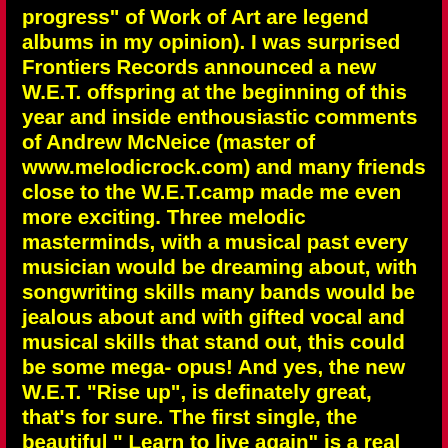progress" of Work of Art are legend albums in my opinion). I was surprised Frontiers Records announced a new W.E.T. offspring at the beginning of this year and inside enthousiastic comments of Andrew McNeice (master of www.melodicrock.com) and many friends close to the W.E.T.camp made me even more exciting. Three melodic masterminds, with a musical past every musician would be dreaming about, with songwriting skills many bands would be jealous about and with gifted vocal and musical skills that stand out, this could be some mega- opus! And yes, the new W.E.T. "Rise up", is definately great, that's for sure. The first single, the beautiful " Learn to live again" is a real firecracker of a song! What a chorus, what a riff! And the new album contains more of these gems: The magnificent opener" Walk away" with its hints of Journey, the stunning title track, the furious rocker " The moment" with a great guitar solo, the haunting" Bad boy", the melodic hookladen " Shot" and the great closing track with its nods to the commercial Talisman and Eclipse riffola. The album has almost no weak spots, although the ballad " Love heals" isn't